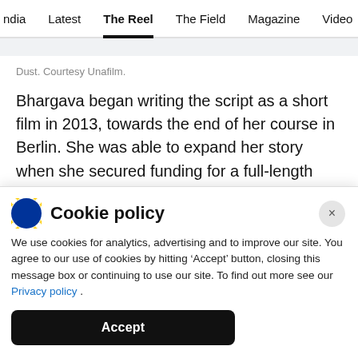ndia  Latest  The Reel  The Field  Magazine  Video  Trend
Dust. Courtesy Unafilm.
Bhargava began writing the script as a short film in 2013, towards the end of her course in Berlin. She was able to expand her story when she secured funding for a full-length feature from the
Cookie policy
We use cookies for analytics, advertising and to improve our site. You agree to our use of cookies by hitting ‘Accept’ button, closing this message box or continuing to use our site. To find out more see our Privacy policy .
Accept